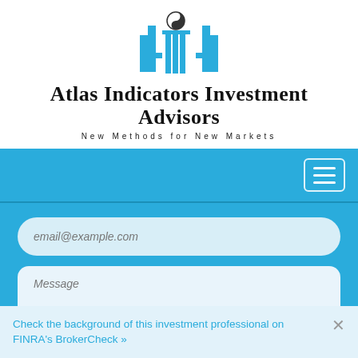[Figure (logo): Atlas Indicators Investment Advisors logo with yin-yang symbol and columns forming the letter A]
Atlas Indicators Investment Advisors
New Methods for New Markets
[Figure (other): Blue navigation bar with hamburger menu button on the right]
email@example.com
Message
Check the background of this investment professional on FINRA's BrokerCheck »